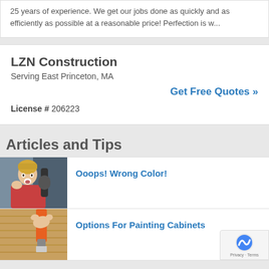25 years of experience. We get our jobs done as quickly and as efficiently as possible at a reasonable price! Perfection is w...
LZN Construction
Serving East Princeton, MA
Get Free Quotes »
License # 206223
Articles and Tips
[Figure (photo): Woman with surprised/shocked expression holding a paint roller, grey-blue background]
Ooops! Wrong Color!
[Figure (photo): Hand holding an orange paintbrush over a wood cabinet surface]
Options For Painting Cabinets